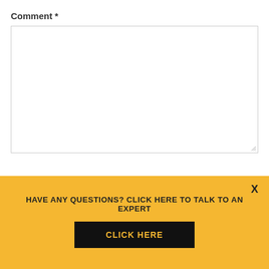Comment *
[Figure (screenshot): Empty comment textarea input field with resize handle in bottom-right corner]
X
HAVE ANY QUESTIONS? CLICK HERE TO TALK TO AN EXPERT
CLICK HERE